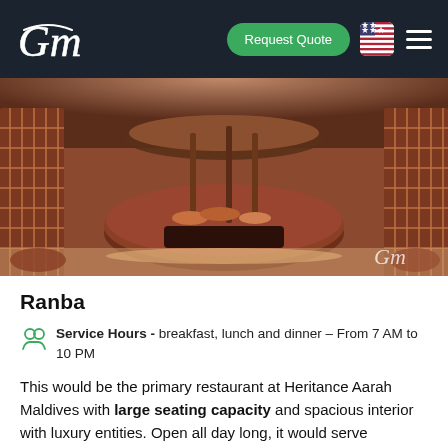GM | Request Quote | Navigation
[Figure (photo): Interior of Ranba restaurant at Heritance Aarah Maldives showing a large circular buffet station with warm lighting, wooden lattice walls on the sides, and a thatched roof structure overhead.]
Ranba
Service Hours - breakfast, lunch and dinner – From 7 AM to 10 PM
This would be the primary restaurant at Heritance Aarah Maldives with large seating capacity and spacious interior with luxury entities. Open all day long, it would serve delicious meals for breakfast